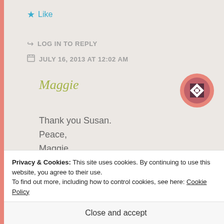★ Like
↪ LOG IN TO REPLY
📅 JULY 16, 2013 AT 12:02 AM
Maggie
[Figure (illustration): Avatar icon: circular badge with pink/salmon border, dark purple and white quilt-like pattern in the center]
Thank you Susan.
Peace,
Maggie
Privacy & Cookies: This site uses cookies. By continuing to use this website, you agree to their use.
To find out more, including how to control cookies, see here: Cookie Policy
Close and accept